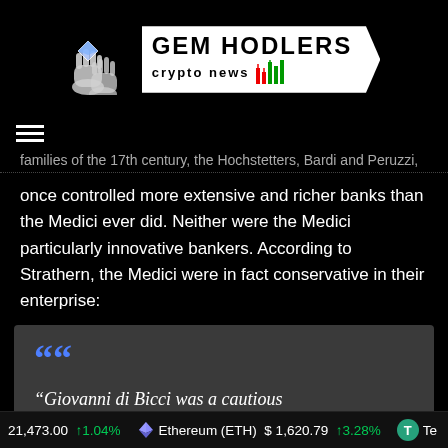[Figure (logo): Gem Hodlers Crypto News logo with hands holding diamond and candlestick chart icon]
[Figure (other): Hamburger menu icon (three horizontal white lines)]
families of the 17th century, the Hochstetters, Bardi and Peruzzi, once controlled more extensive and richer banks than the Medici ever did. Neither were the Medici particularly innovative bankers. According to Strathern, the Medici were in fact conservative in their enterprise:
“Giovanni di Bicci was a cautious
21,473.00 ↑1.04%   Ethereum (ETH) $1,620.79 ↑3.28%   Te